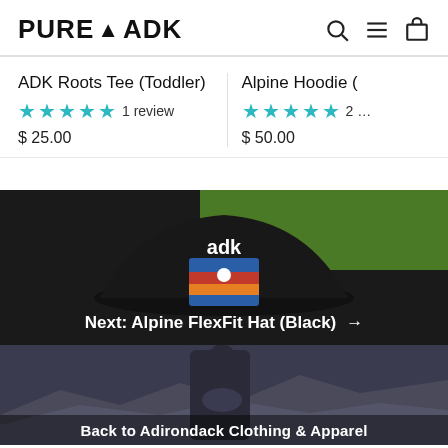PURE ADK — navigation icons: search, menu, cart
ADK Roots Tee (Toddler)
★★★★★ 1 review
$ 25.00
Alpine Hoodie (
★★★★★ 2 …
$ 50.00
[Figure (photo): Dark hat with 'adk' text and colorful alpine logo patch, photographed outdoors with green background. Banner overlay reads 'Next: Alpine FlexFit Hat (Black)' with arrow.]
[Figure (photo): Person standing outdoors wearing a dark long-sleeve shirt with mountains in background. Bottom text reads 'Back to Adirondack Clothing & Apparel']